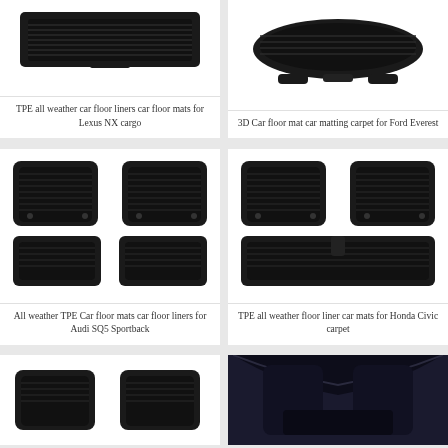[Figure (photo): TPE all weather car floor liners for Lexus NX cargo - dark black rubber mat top view]
TPE all weather car floor liners car floor mats for Lexus NX cargo
[Figure (photo): 3D Car floor mat car matting carpet for Ford Everest - black rubber mat set top view]
3D Car floor mat car matting carpet for Ford Everest
[Figure (photo): All weather TPE Car floor mats car floor liners for Audi SQ5 Sportback - 4 piece black mat set]
All weather TPE Car floor mats car floor liners for Audi SQ5 Sportback
[Figure (photo): TPE all weather floor liner car mats for Honda Civic carpet - 4 piece black mat set]
TPE all weather floor liner car mats for Honda Civic carpet
[Figure (photo): Partial view of car floor mats - bottom left card cut off]
[Figure (photo): Interior car photo showing dark car interior - bottom right card]